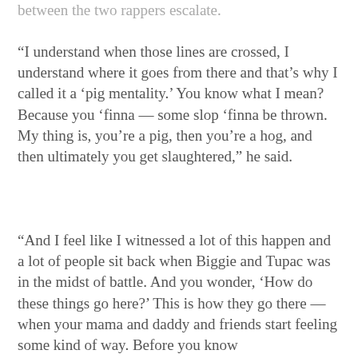between the two rappers escalate.
“I understand when those lines are crossed, I understand where it goes from there and that’s why I called it a ‘pig mentality.’ You know what I mean? Because you ‘finna — some slop ‘finna be thrown. My thing is, you’re a pig, then you’re a hog, and then ultimately you get slaughtered,” he said.
“And I feel like I witnessed a lot of this happen and a lot of people sit back when Biggie and Tupac was in the midst of battle. And you wonder, ‘How do these things go here?’ This is how they go there — when your mama and daddy and friends start feeling some kind of way. Before you know